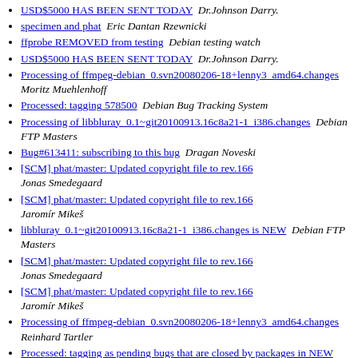USD$5000 HAS BEEN SENT TODAY  Dr.Johnson Darry.
specimen and phat  Eric Dantan Rzewnicki
ffprobe REMOVED from testing  Debian testing watch
USD$5000 HAS BEEN SENT TODAY  Dr.Johnson Darry.
Processing of ffmpeg-debian_0.svn20080206-18+lenny3_amd64.changes  Moritz Muehlenhoff
Processed: tagging 578500  Debian Bug Tracking System
Processing of libbluray_0.1~git20100913.16c8a21-1_i386.changes  Debian FTP Masters
Bug#613411: subscribing to this bug  Dragan Noveski
[SCM] phat/master: Updated copyright file to rev.166  Jonas Smedegaard
[SCM] phat/master: Updated copyright file to rev.166  Jaromír Mikeš
libbluray_0.1~git20100913.16c8a21-1_i386.changes is NEW  Debian FTP Masters
[SCM] phat/master: Updated copyright file to rev.166  Jonas Smedegaard
[SCM] phat/master: Updated copyright file to rev.166  Jaromír Mikeš
Processing of ffmpeg-debian_0.svn20080206-18+lenny3_amd64.changes  Reinhard Tartler
Processed: tagging as pending bugs that are closed by packages in NEW  Debian Bug Tracking System
Request for membership approval  Rico Tzschichholz